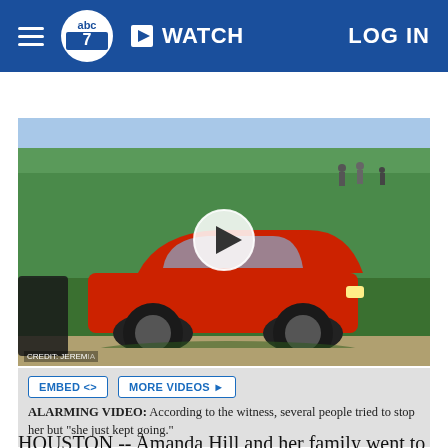ABC7 | WATCH | LOG IN
[Figure (screenshot): ABC7 news website screenshot showing navigation bar with hamburger menu, ABC7 logo, WATCH button, and LOG IN link on blue background]
[Figure (photo): Video thumbnail showing a red SUV (Dodge Journey) driving on a grass field/park with people visible in the background. A white play button circle is overlaid in the center. Credit text visible bottom left.]
ALARMING VIDEO: According to the witness, several people tried to stop her but "she just kept going."
HOUSTON -- Amanda Hill and her family went to